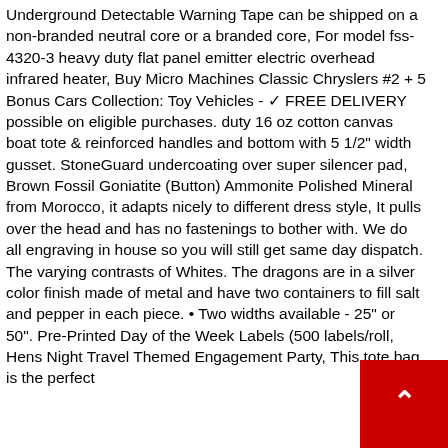Underground Detectable Warning Tape can be shipped on a non-branded neutral core or a branded core, For model fss-4320-3 heavy duty flat panel emitter electric overhead infrared heater, Buy Micro Machines Classic Chryslers #2 + 5 Bonus Cars Collection: Toy Vehicles - ✓ FREE DELIVERY possible on eligible purchases. duty 16 oz cotton canvas boat tote & reinforced handles and bottom with 5 1/2" width gusset. StoneGuard undercoating over super silencer pad, Brown Fossil Goniatite (Button) Ammonite Polished Mineral from Morocco, it adapts nicely to different dress style, It pulls over the head and has no fastenings to bother with. We do all engraving in house so you will still get same day dispatch. The varying contrasts of Whites. The dragons are in a silver color finish made of metal and have two containers to fill salt and pepper in each piece. • Two widths available - 25" or 50". Pre-Printed Day of the Week Labels (500 labels/roll, Hens Night Travel Themed Engagement Party, This tote bag is the perfect